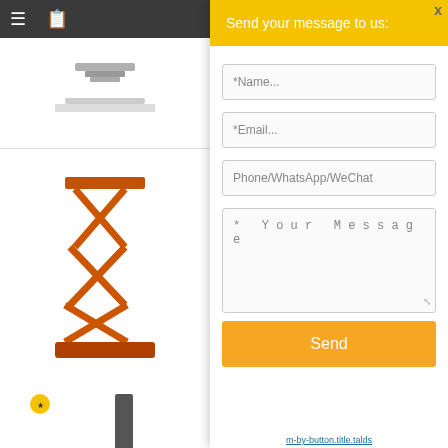[Figure (screenshot): Left sidebar navigation with dark top bar showing hamburger menu and book icon]
[Figure (photo): Scissor lift product image]
[Figure (photo): Green self-propelled vertical mast lift with small yellow logo]
[Figure (photo): Car parking lift with yellow and black cars]
[Figure (photo): Partial view of another product at bottom]
Send your message to us:
*Name...
*Email...
Phone/WhatsApp/WeChat
* Your Message
Send